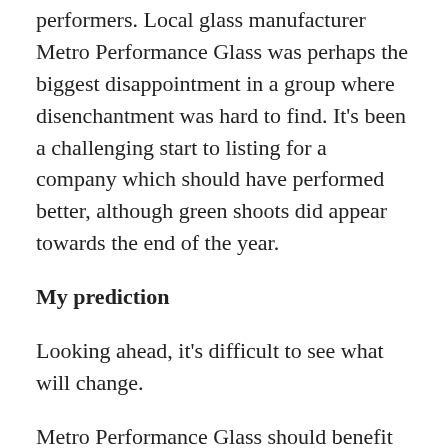performers. Local glass manufacturer Metro Performance Glass was perhaps the biggest disappointment in a group where disenchantment was hard to find. It's been a challenging start to listing for a company which should have performed better, although green shoots did appear towards the end of the year.
My prediction
Looking ahead, it's difficult to see what will change.
Metro Performance Glass should benefit from a supportive government, but whether it can profit remains the key question. Mainfreight is exposed to offshore markets in a sector benefiting from